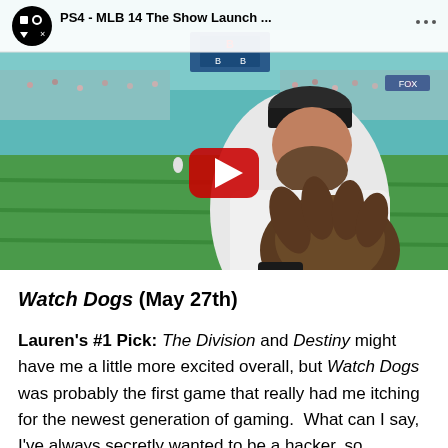[Figure (screenshot): YouTube video thumbnail for 'PS4 - MLB 14 The Show Launch ...' showing a baseball player in a Boston Red Sox uniform holding a glove, with a stadium background. A red YouTube play button is overlaid in the center.]
Watch Dogs (May 27th)
Lauren's #1 Pick: The Division and Destiny might have me a little more excited overall, but Watch Dogs was probably the first game that really had me itching for the newest generation of gaming.  What can I say, I've always secretly wanted to be a hacker, so